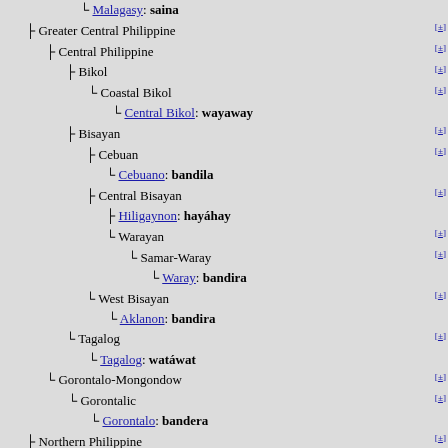└ Malagasy: saina
├ Greater Central Philippine [±]
├ Central Philippine [±]
├ Bikol [±]
└ Coastal Bikol [±]
└ Central Bikol: wayaway
├ Bisayan [±]
├ Cebuan [±]
└ Cebuano: bandila
├ Central Bisayan [±]
├ Hiligaynon: hayáhay
└ Warayan [±]
└ Samar-Waray [±]
└ Waray: bandira
└ West Bisayan [±]
└ Aklanon: bandira
└ Tagalog [±]
└ Tagalog: watáwat
└ Gorontalo-Mongondow [±]
└ Gorontalic [±]
└ Gorontalo: bandera
├ Northern Philippine [±]
├ Ilokano: wagayway
├ Bashiic - Central Luzon - Northern Mindanao
├ Bashiic